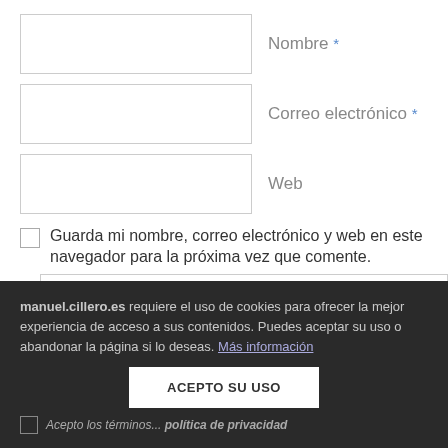Nombre *
Correo electrónico *
Web
Guarda mi nombre, correo electrónico y web en este navegador para la próxima vez que comente.
manuel.cillero.es requiere el uso de cookies para ofrecer la mejor experiencia de acceso a sus contenidos. Puedes aceptar su uso o abandonar la página si lo deseas. Más información
ACEPTO SU USO
Acepto los términos ... política de privacidad